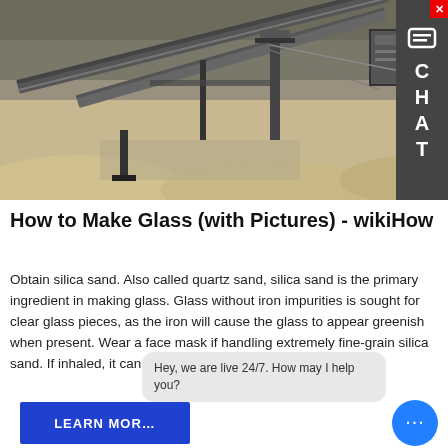[Figure (photo): Aerial/side view of industrial mining/crushing machinery (conveyor belts, gravel crusher) at a quarry or gravel pit, with sandy/rocky terrain surrounding the equipment.]
How to Make Glass (with Pictures) - wikiHow
Obtain silica sand. Also called quartz sand, silica sand is the primary ingredient in making glass. Glass without iron impurities is sought for clear glass pieces, as the iron will cause the glass to appear greenish when present. Wear a face mask if handling extremely fine-grain silica sand. If inhaled, it can irritate the throat and lungs.